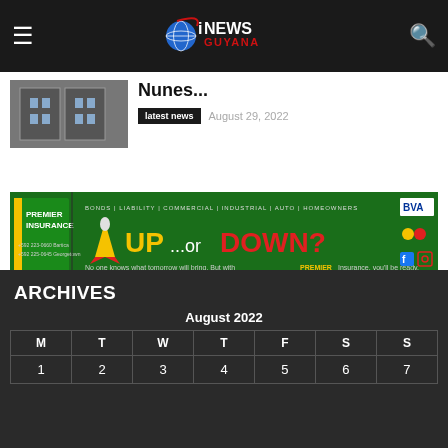iNEWS GUYANA
[Figure (photo): Article thumbnail showing a building interior/exterior]
Nunes...
latest news   August 29, 2022
[Figure (illustration): Premier Insurance advertisement banner - UP ...or DOWN? No one knows what tomorrow will bring. But with PREMIER Insurance, you'll be ready.]
Read More Interesting Content
ARCHIVES
August 2022
| M | T | W | T | F | S | S |
| --- | --- | --- | --- | --- | --- | --- |
| 1 | 2 | 3 | 4 | 5 | 6 | 7 |